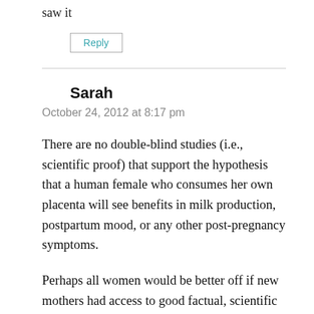saw it
Reply
Sarah
October 24, 2012 at 8:17 pm
There are no double-blind studies (i.e., scientific proof) that support the hypothesis that a human female who consumes her own placenta will see benefits in milk production, postpartum mood, or any other post-pregnancy symptoms.
Perhaps all women would be better off if new mothers had access to good factual, scientific